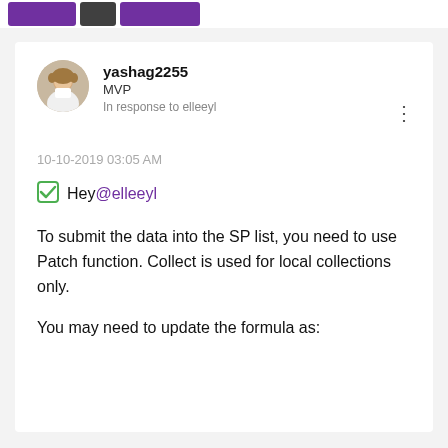[Figure (screenshot): Top bar with purple and dark UI buttons partially visible]
yashag2255
MVP
In response to elleeyl
10-10-2019 03:05 AM
✅ Hey @elleeyl
To submit the data into the SP list, you need to use Patch function. Collect is used for local collections only.
You may need to update the formula as: